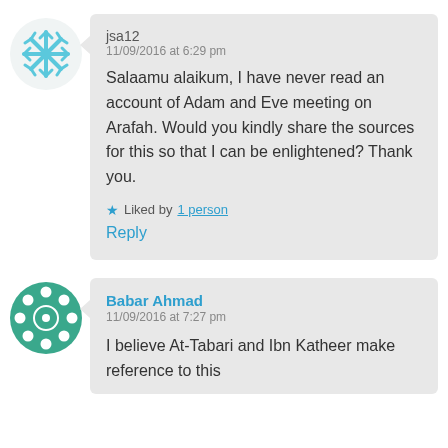[Figure (illustration): Blue snowflake avatar icon for user jsa12]
jsa12
11/09/2016 at 6:29 pm

Salaamu alaikum, I have never read an account of Adam and Eve meeting on Arafah. Would you kindly share the sources for this so that I can be enlightened? Thank you.

★ Liked by 1 person
Reply
[Figure (illustration): Green film reel / circle avatar icon for user Babar Ahmad]
Babar Ahmad
11/09/2016 at 7:27 pm

I believe At-Tabari and Ibn Katheer make reference to this